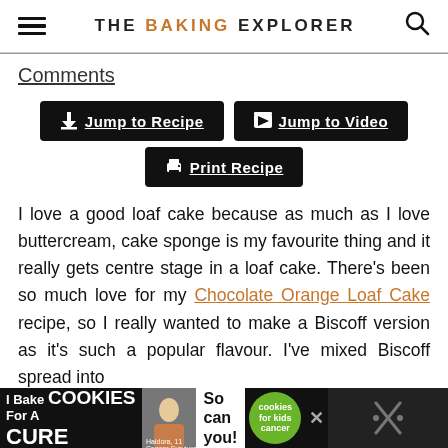THE BAKING EXPLORER
Comments
Jump to Recipe
Jump to Video
Print Recipe
I love a good loaf cake because as much as I love buttercream, cake sponge is my favourite thing and it really gets centre stage in a loaf cake. There's been so much love for my Chocolate Orange Loaf Cake recipe, so I really wanted to make a Biscoff version as it's such a popular flavour. I've mixed Biscoff spread into
[Figure (other): Advertisement banner at the bottom: 'I Bake COOKIES For A CURE' with photo of child, 'So can you!' text, cookies for kids cancer logo]